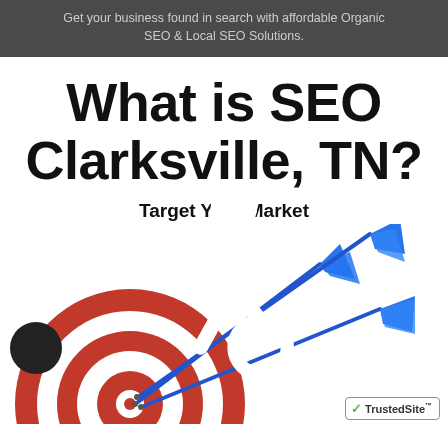Get your business found in search with affordable Organic SEO & Local SEO Solutions.
What is SEO Clarksville, TN?
Target Your Market
[Figure (illustration): A red and white dartboard with three blue darts hitting the bullseye, on a white background. Lower left has an accessibility wheelchair icon badge. Lower right has a TrustedSite badge.]